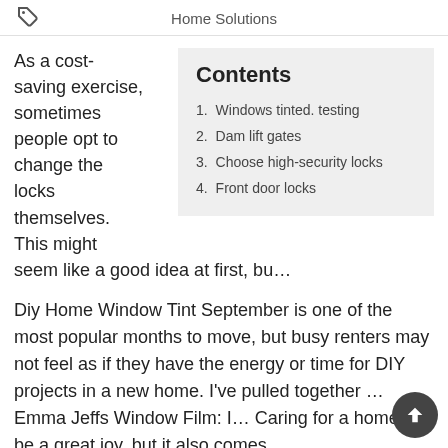Home Solutions
As a cost-saving exercise, sometimes people opt to change the locks themselves. This might seem like a good idea at first, bu…
Contents
1. Windows tinted. testing
2. Dam lift gates
3. Choose high-security locks
4. Front door locks
Diy Home Window Tint September is one of the most popular months to move, but busy renters may not feel as if they have the energy or time for DIY projects in a new home. I've pulled together … Emma Jeffs Window Film: I… Caring for a home can be a great joy, but it also comes